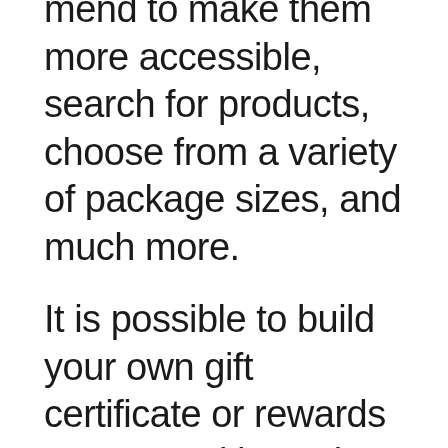mend to make them more accessible, search for products, choose from a variety of package sizes, and much more.
It is possible to build your own gift certificate or rewards program with Ovvi POS, and it supports all forms of payment, including